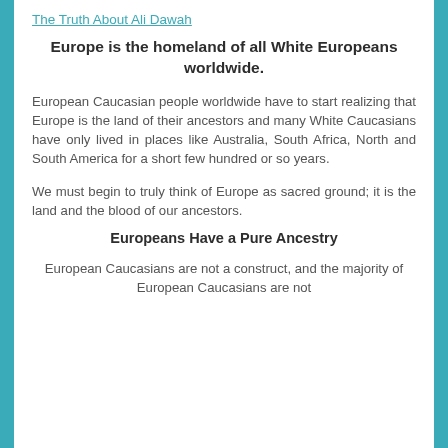The Truth About Ali Dawah
Europe is the homeland of all White Europeans worldwide.
European Caucasian people worldwide have to start realizing that Europe is the land of their ancestors and many White Caucasians have only lived in places like Australia, South Africa, North and South America for a short few hundred or so years.
We must begin to truly think of Europe as sacred ground; it is the land and the blood of our ancestors.
Europeans Have a Pure Ancestry
European Caucasians are not a construct, and the majority of European Caucasians are not